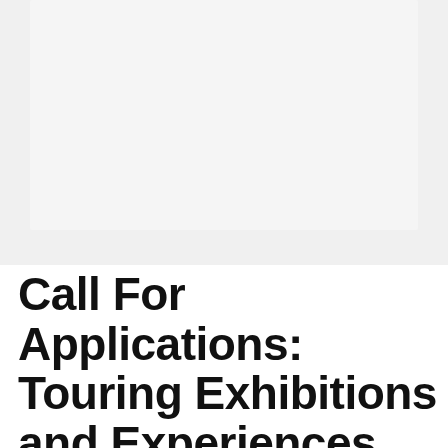[Figure (photo): Large light gray/white rectangular image area occupying the upper portion of the page]
Call For Applications: Touring Exhibitions and Experiences for the TEEM Exhibitions Flag